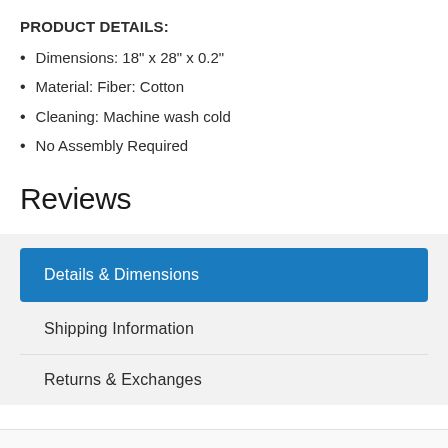PRODUCT DETAILS:
Dimensions: 18" x 28" x 0.2"
Material: Fiber: Cotton
Cleaning: Machine wash cold
No Assembly Required
Reviews
Details & Dimensions
Shipping Information
Returns & Exchanges